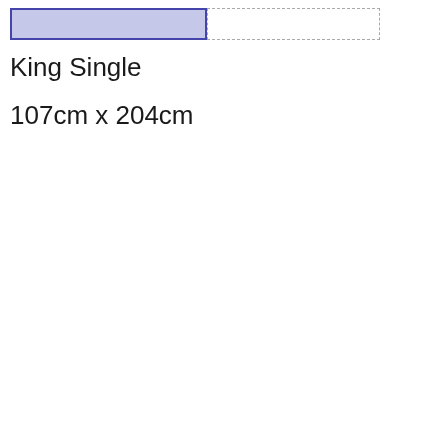[Figure (schematic): Two rectangles side by side representing a bed size diagram. Left rectangle is filled with light lavender/purple and has a solid dark blue border. Right rectangle is empty (white) with a dashed grey border.]
King Single
107cm x 204cm